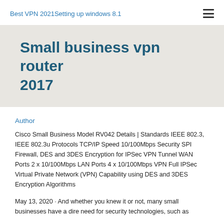Best VPN 2021Setting up windows 8.1
Small business vpn router 2017
Author
Cisco Small Business Model RV042 Details | Standards IEEE 802.3, IEEE 802.3u Protocols TCP/IP Speed 10/100Mbps Security SPI Firewall, DES and 3DES Encryption for IPSec VPN Tunnel WAN Ports 2 x 10/100Mbps LAN Ports 4 x 10/100Mbps VPN Full IPSec Virtual Private Network (VPN) Capability using DES and 3DES Encryption Algorithms
May 13, 2020 · And whether you knew it or not, many small businesses have a dire need for security technologies, such as